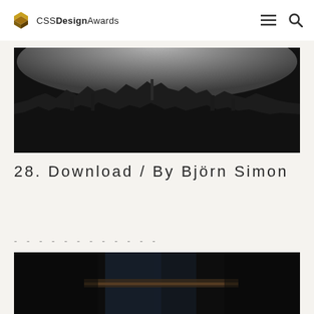CSS Design Awards
[Figure (photo): Wide panoramic black and white aerial cityscape photo showing a misty city skyline from above, with dark foreground and lighter foggy sky at the top]
28. Download / By Björn Simon
- - - - - - - - - - - -
[Figure (photo): Dark close-up photo of a person wearing jeans and holding/wearing a leather belt, shot in low light]